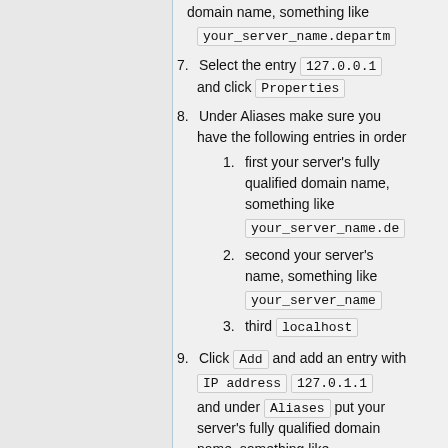domain name, something like your_server_name.department...
7. Select the entry 127.0.0.1 and click Properties
8. Under Aliases make sure you have the following entries in order
1. first your server's fully qualified domain name, something like your_server_name.de...
2. second your server's name, something like your_server_name
3. third localhost
9. Click Add and add an entry with IP address 127.0.1.1 and under Aliases put your server's fully qualified domain name, something like